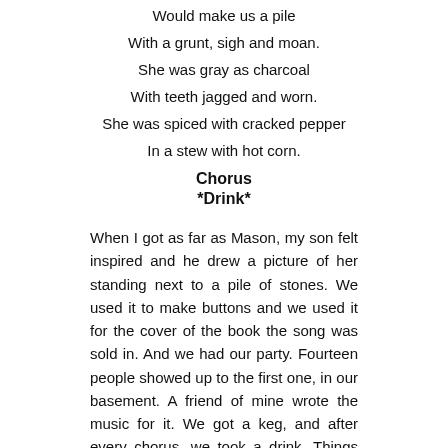Would make us a pile
With a grunt, sigh and moan.
She was gray as charcoal
With teeth jagged and worn.
She was spiced with cracked pepper
In a stew with hot corn.
Chorus
*Drink*
When I got as far as Mason, my son felt inspired and he drew a picture of her standing next to a pile of stones. We used it to make buttons and we used it for the cover of the book the song was sold in. And we had our party. Fourteen people showed up to the first one, in our basement. A friend of mine wrote the music for it. We got a keg, and after every chorus, we took a drink. Things started to lighten up after the fifteenth chorus had been sung. And by the end of the night, everyone in attendance made me promise to throw the party anyways.